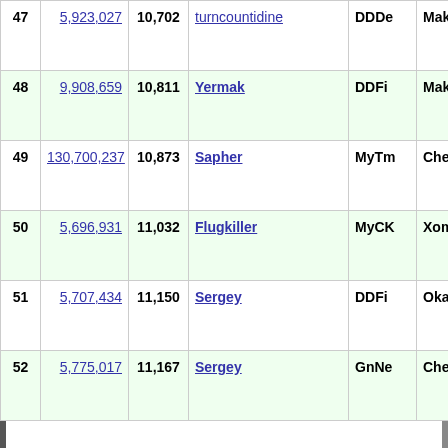| # | Score | Turns | Name | Type | Map |
| --- | --- | --- | --- | --- | --- |
| 47 | 5,923,027 | 10,702 | turncountidine | DDDe | Makhleb |
| 48 | 9,908,659 | 10,811 | Yermak | DDFi | Makhleb |
| 49 | 130,700,237 | 10,873 | Sapher | MyTm | Cheibriados |
| 50 | 5,696,931 | 11,032 | Flugkiller | MyCK | Xom |
| 51 | 5,707,434 | 11,150 | Sergey | DDFi | Okawaru |
| 52 | 5,775,017 | 11,167 | Sergey | GnNe | Cheibriados |